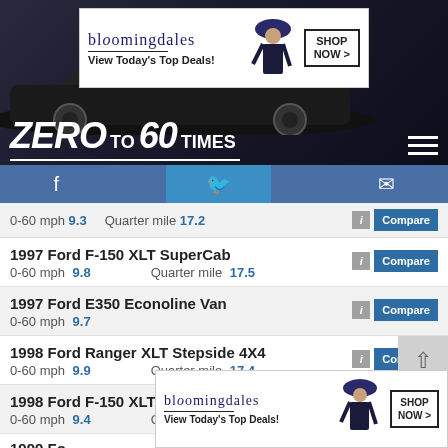[Figure (screenshot): Zero to 60 Times website header with dark car background and Bloomingdales ad banner overlay]
ZERO TO 60 TIMES
[Figure (screenshot): Social media bar with Facebook, Twitter, and email icons]
0-60 mph 9.3   Quarter mile 17.2
1997 Ford F-150 XLT SuperCab
0-60 mph 9.8   Quarter mile 17.5
1997 Ford E350 Econoline Van
0-60 mph 9.7
1998 Ford Ranger XLT Stepside 4X4
0-60 mph 9.9   Quarter mile 17.4
1998 Ford F-150 XLT SuperCab 4X4
0-60 mph 9.4   Quarter mile 17.2
1999 Fo...